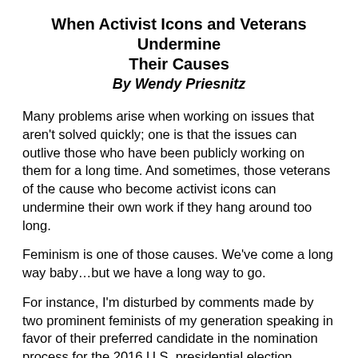When Activist Icons and Veterans Undermine Their Causes
By Wendy Priesnitz
Many problems arise when working on issues that aren't solved quickly; one is that the issues can outlive those who have been publicly working on them for a long time. And sometimes, those veterans of the cause who become activist icons can undermine their own work if they hang around too long.
Feminism is one of those causes. We've come a long way baby…but we have a long way to go.
For instance, I'm disturbed by comments made by two prominent feminists of my generation speaking in favor of their preferred candidate in the nomination process for the 2016 U.S. presidential election.
Here's 81-year-old feminist icon Gloria Steinem: